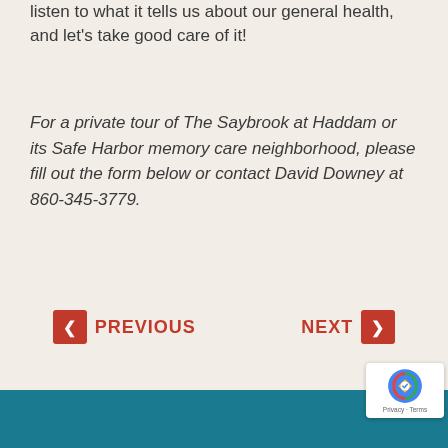listen to what it tells us about our general health, and let’s take good care of it!
For a private tour of The Saybrook at Haddam or its Safe Harbor memory care neighborhood, please fill out the form below or contact David Downey at 860-345-3779.
PREVIOUS
NEXT
[Figure (other): reCAPTCHA privacy badge with Google logo and Privacy/Terms text]